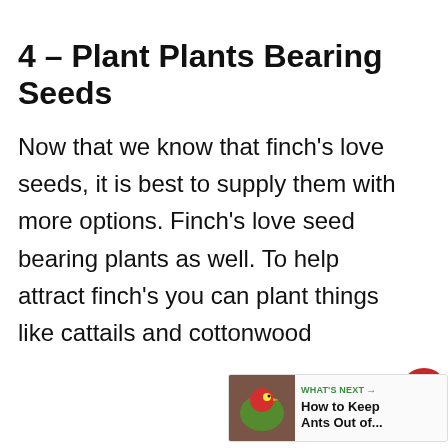4 – Plant Plants Bearing Seeds
Now that we know that finch's love seeds, it is best to supply them with more options. Finch's love seed bearing plants as well. To help attract finch's you can plant things like cattails and cottonwood
[Figure (infographic): Red heart/like button icon with count 217 and share icon on the right side]
[Figure (infographic): What's Next panel showing a bird image with text 'WHAT'S NEXT → How to Keep Ants Out of...']